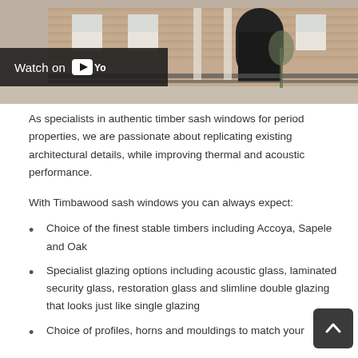[Figure (photo): Photo of a Georgian/Victorian brick terraced building with white sash windows and black iron railing fence. A 'Watch on YouTube' overlay bar appears at the bottom left of the image.]
As specialists in authentic timber sash windows for period properties, we are passionate about replicating existing architectural details, while improving thermal and acoustic performance.
With Timbawood sash windows you can always expect:
Choice of the finest stable timbers including Accoya, Sapele and Oak
Specialist glazing options including acoustic glass, laminated security glass, restoration glass and slimline double glazing that looks just like single glazing
Choice of profiles, horns and mouldings to match your